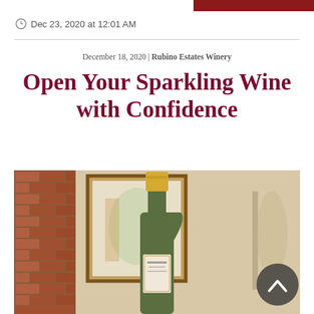Dec 23, 2020 at 12:01 AM
December 18, 2020 | Rubino Estates Winery
Open Your Sparkling Wine with Confidence
[Figure (photo): A sparkling wine bottle with gold foil top, set against a background with a brick wall on the left, a wooden-framed window or picture in the middle, and warm neutral tones throughout. A scroll-up button (dark circle with upward chevron) is visible in the bottom right corner.]